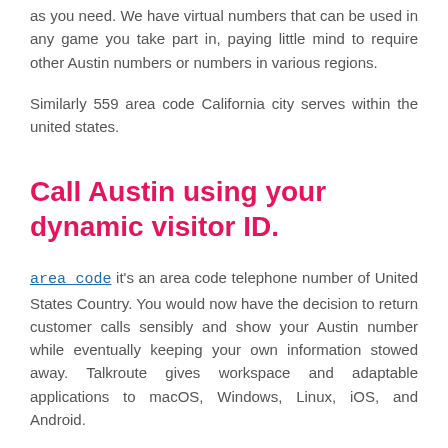as you need. We have virtual numbers that can be used in any game you take part in, paying little mind to require other Austin numbers or numbers in various regions.
Similarly 559 area code California city serves within the united states.
Call Austin using your dynamic visitor ID.
area code it's an area code telephone number of United States Country. You would now have the decision to return customer calls sensibly and show your Austin number while eventually keeping your own information stowed away. Talkroute gives workspace and adaptable applications to macOS, Windows, Linux, iOS, and Android.